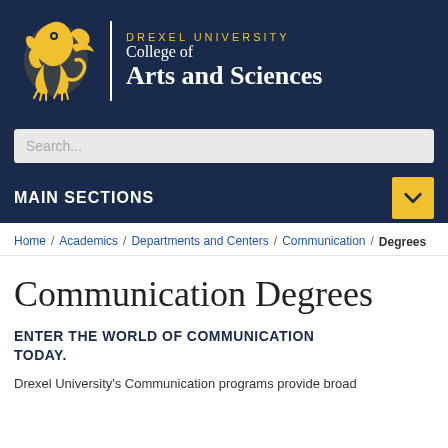[Figure (logo): Drexel University College of Arts and Sciences header with golden dragon logo and white text on dark navy background]
Search...
MAIN SECTIONS
Home / Academics / Departments and Centers / Communication / Degrees
Communication Degrees
ENTER THE WORLD OF COMMUNICATION TODAY.
Drexel University's Communication programs provide broad